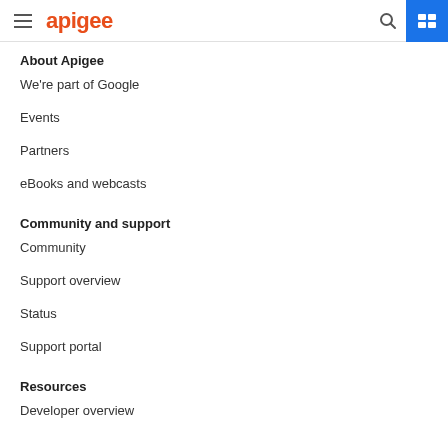apigee
About Apigee
We're part of Google
Events
Partners
eBooks and webcasts
Community and support
Community
Support overview
Status
Support portal
Resources
Developer overview